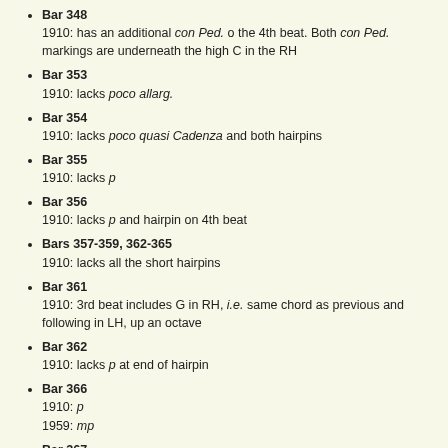Bar 348
1910: has an additional con Ped. o the 4th beat. Both con Ped. markings are underneath the high C in the RH
Bar 353
1910: lacks poco allarg.
Bar 354
1910: lacks poco quasi Cadenza and both hairpins
Bar 355
1910: lacks p
Bar 356
1910: lacks p and hairpin on 4th beat
Bars 357-359, 362-365
1910: lacks all the short hairpins
Bar 361
1910: 3rd beat includes G in RH, i.e. same chord as previous and following in LH, up an octave
Bar 362
1910: lacks p at end of hairpin
Bar 366
1910: p
1959: mp
Bar 367
1910: hairpin crescendo through bar
1959: hairpin decrescendo through bar
Bar 369
1910: lacks the additional accelerando and the accent on the first LH